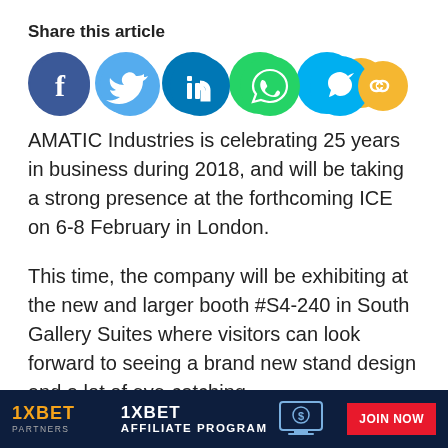Share this article
[Figure (infographic): Row of six social media share icons: Facebook (blue), Twitter (light blue), LinkedIn (dark blue), WhatsApp (green), Skype (sky blue), Copy link (yellow/gold)]
AMATIC Industries is celebrating 25 years in business during 2018, and will be taking a strong presence at the forthcoming ICE on 6-8 February in London.
This time, the company will be exhibiting at the new and larger booth #S4-240 in South Gallery Suites where visitors can look forward to seeing a brand new stand design and a lot of eye-catching
[Figure (infographic): 1XBET Partners affiliate program advertisement banner with dark blue background, orange 1XBET logo on left, '1XBET AFFILIATE PROGRAM' text in center with monitor icon, and red JOIN NOW button on right]